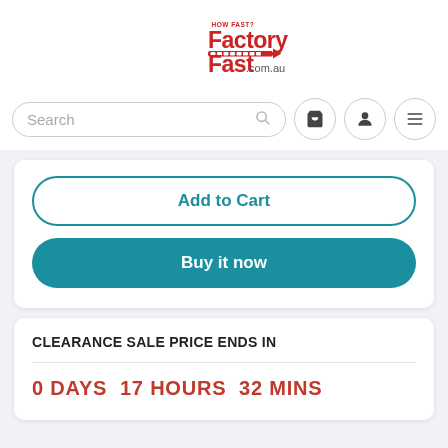[Figure (logo): Factory Fast HOW FAST? logo in red with conveyor belt graphic and .com.au text]
Search
Add to Cart
Buy it now
CLEARANCE SALE PRICE ENDS IN
0 DAYS  17 HOURS  32 MINS